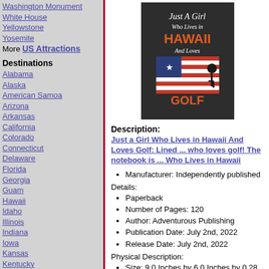Washington Monument
White House
Yellowstone
Yosemite
More US Attractions
Destinations
Alabama
Alaska
American Samoa
Arizona
Arkansas
California
Colorado
Connecticut
Delaware
Florida
Georgia
Guam
Hawaii
Idaho
Illinois
Indiana
Iowa
Kansas
Kentucky
Louisiana
[Figure (photo): Book cover: Just A Girl Who Lives in Hawaii And Loves Golf, dark background with American flag and golf silhouette]
Description:
Just a Girl Who Lives in Hawaii And Loves Golf: Lined ... who loves golf! The notebook is ... Who Lives in Hawaii
Manufacturer: Independently published
Details:
Paperback
Number of Pages: 120
Author: Adventurous Publishing
Publication Date: July 2nd, 2022
Release Date: July 2nd, 2022
Physical Description:
Size: 9.0 Inches by 6.0 Inches by 0.28 Inches
Click here for more information